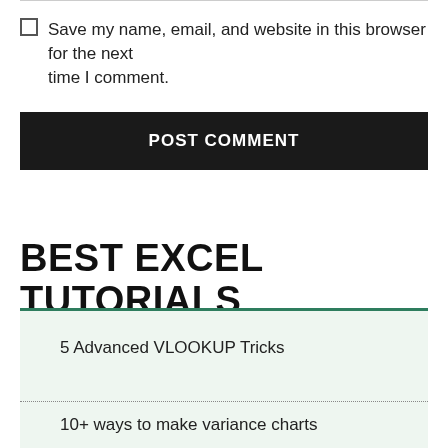Save my name, email, and website in this browser for the next time I comment.
POST COMMENT
BEST EXCEL TUTORIALS
5 Advanced VLOOKUP Tricks
10+ ways to make variance charts